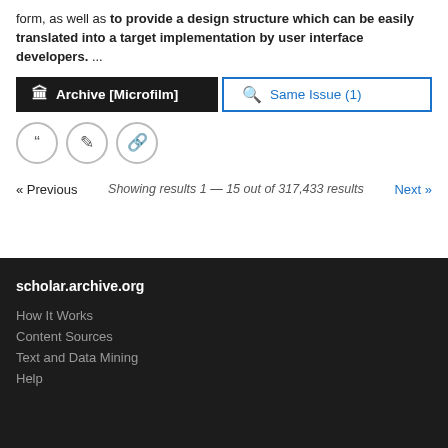form, as well as to provide a design structure which can be easily translated into a target implementation by user interface developers.  ...
Archive [Microfilm]
Same Issue (1)
« Previous   Showing results 1 — 15 out of 317,433 results   Next »
scholar.archive.org
How It Works
Content Sources
Text and Data Mining
Help